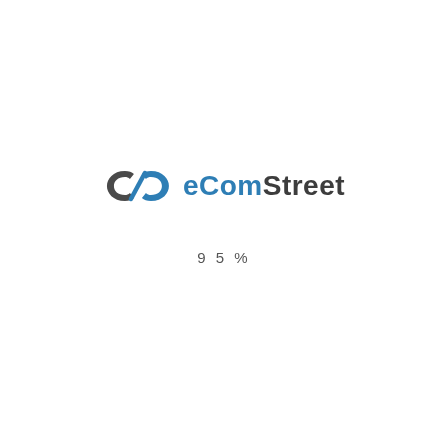[Figure (logo): eComStreet logo with two interlinked chain-link style icon in dark gray and blue, followed by the text eComStreet with 'eCom' in blue and 'Street' in dark gray]
9 5 %